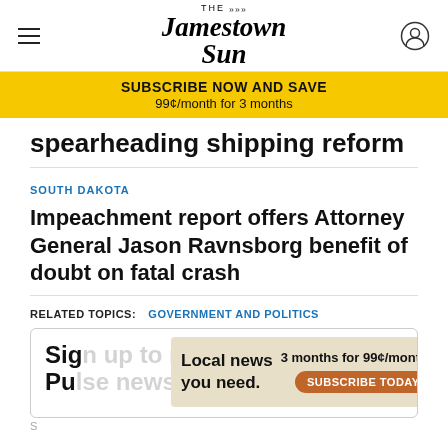The Jamestown Sun
SUBSCRIBE NOW AND SAVE
99¢/month for 3 months
spearheading shipping reform
SOUTH DAKOTA
Impeachment report offers Attorney General Jason Ravnsborg benefit of doubt on fatal crash
RELATED TOPICS: GOVERNMENT AND POLITICS
Sign up to receive the Political Pulse newsletter
[Figure (infographic): Ad overlay reading 'Local news you need.' with '3 months for 99¢/month.' and 'SUBSCRIBE TODAY' button]